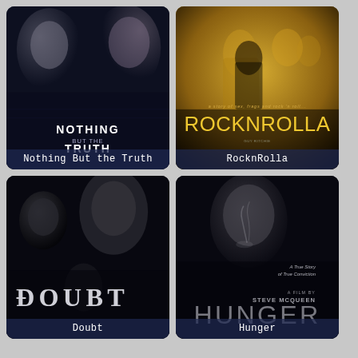[Figure (photo): Movie poster for 'Nothing But the Truth' showing two faces in dark blue/grey tones with the film title text overlay and caption below]
Nothing But the Truth
[Figure (photo): Movie poster for 'RocknRolla' showing figures in golden-brown tones with bold title text and tagline, caption below]
RocknRolla
[Figure (photo): Movie poster for 'Doubt' showing three faces in very dark near-black tones with bold 'DOUBT' title and caption below]
Doubt
[Figure (photo): Movie poster for 'Hunger' directed by Steve McQueen showing a man smoking in dark tones with large grey title text and caption below]
Hunger